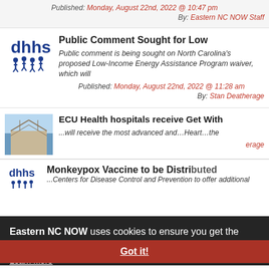Published: Monday, August 22nd, 2022 @ 10:47 pm
By: Eastern NC NOW Staff
Public Comment Sought for Low
Public comment is being sought on North Carolina's proposed Low-Income Energy Assistance Program waiver, which will
Published: Monday, August 22nd, 2022 @ 11:28 am
By: Stan Deatherage
ECU Health hospitals receive Get With
Eastern NC NOW uses cookies to ensure you get the best experience on our website. Learn More
Monkeypox Vaccine to be Distributed
...Centers for Disease Control and Prevention to offer additional